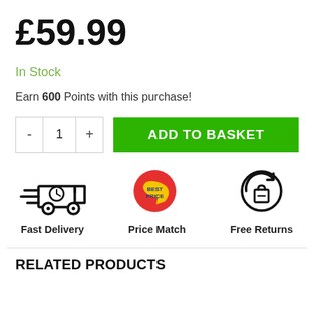£59.99
In Stock
Earn 600 Points with this purchase!
[Figure (infographic): Quantity selector with minus button, value 1, and plus button; followed by a green ADD TO BASKET button]
[Figure (infographic): Three icons: Fast Delivery (delivery truck with clock), Price Match (red/yellow badge with BEST PRICE text), Free Returns (shopping bag with return arrow)]
RELATED PRODUCTS